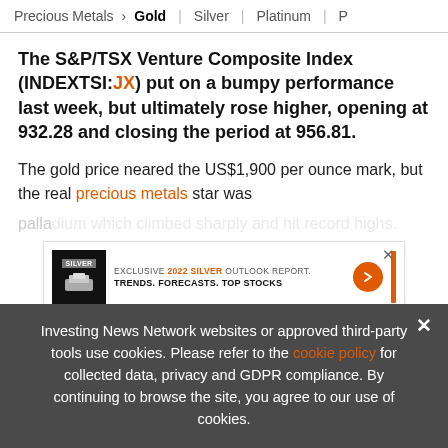Precious Metals > Gold | Silver | Platinum |
The S&P/TSX Venture Composite Index (INDEXTSI:JX) put on a bumpy performance last week, but ultimately rose higher, opening at 932.28 and closing the period at 956.81.
The gold price neared the US$1,900 per ounce mark, but the real precious metals star was
[Figure (infographic): Advertisement banner: EXCLUSIVE 2022 SILVER OUTLOOK REPORT. TRENDS. FORECASTS. TOP STOCKS with orange arrow button and vertical orange bar. Silver report image on left.]
Looking at mining as a whole, the Canadian
Investing News Network websites or approved third-party tools use cookies. Please refer to the cookie policy for collected data, privacy and GDPR compliance. By continuing to browse the site, you agree to our use of cookies.